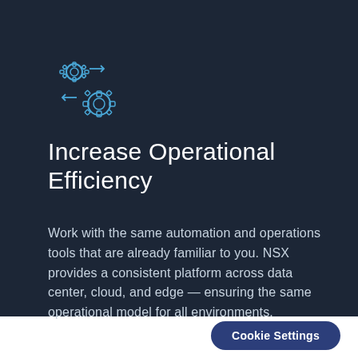[Figure (illustration): Two interlocking gear icons in blue outline style with small arrows indicating movement, representing operations/automation]
Increase Operational Efficiency
Work with the same automation and operations tools that are already familiar to you. NSX provides a consistent platform across data center, cloud, and edge — ensuring the same operational model for all environments.
Cookie Settings